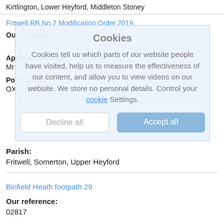Kirtlington, Lower Heyford, Middleton Stoney
Fritwell RB No 2 Modification Order 2019
Our reference:
02011
Applicant name(s):
Mr C Blomfield
Postcode(s):
OX25 6NN
Parish:
Fritwell, Somerton, Upper Heyford
Binfield Heath footpath 29
Our reference:
02817
[Figure (screenshot): Cookie consent overlay dialog with title 'Cookies', descriptive text about cookie usage, 'Decline all' and 'Accept all' buttons]